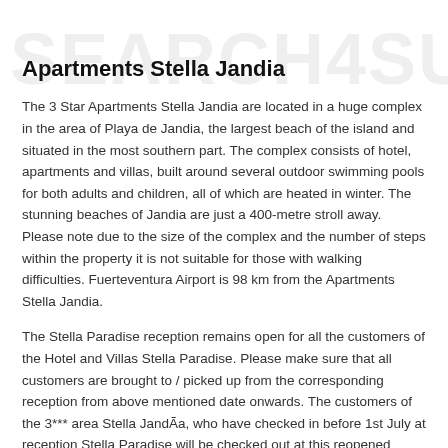Apartments Stella Jandia
The 3 Star Apartments Stella Jandia are located in a huge complex in the area of Playa de Jandia, the largest beach of the island and situated in the most southern part. The complex consists of hotel, apartments and villas, built around several outdoor swimming pools for both adults and children, all of which are heated in winter. The stunning beaches of Jandia are just a 400-metre stroll away. Please note due to the size of the complex and the number of steps within the property it is not suitable for those with walking difficulties. Fuerteventura Airport is 98 km from the Apartments Stella Jandia.
The Stella Paradise reception remains open for all the customers of the Hotel and Villas Stella Paradise. Please make sure that all customers are brought to / picked up from the corresponding reception from above mentioned date onwards. The customers of the 3*** area Stella JandÃa, who have checked in before 1st July at reception Stella Paradise will be checked out at this reopened reception.